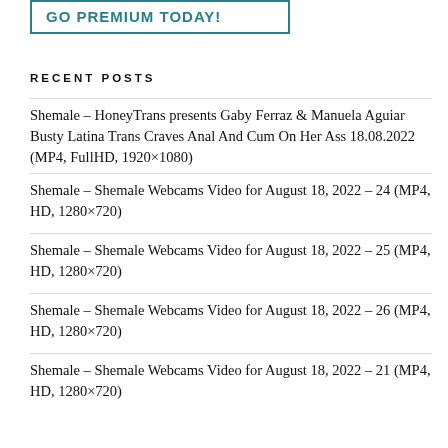[Figure (other): GO PREMIUM TODAY! banner with teal border]
RECENT POSTS
Shemale – HoneyTrans presents Gaby Ferraz & Manuela Aguiar Busty Latina Trans Craves Anal And Cum On Her Ass 18.08.2022 (MP4, FullHD, 1920×1080)
Shemale – Shemale Webcams Video for August 18, 2022 – 24 (MP4, HD, 1280×720)
Shemale – Shemale Webcams Video for August 18, 2022 – 25 (MP4, HD, 1280×720)
Shemale – Shemale Webcams Video for August 18, 2022 – 26 (MP4, HD, 1280×720)
Shemale – Shemale Webcams Video for August 18, 2022 – 21 (MP4, HD, 1280×720)